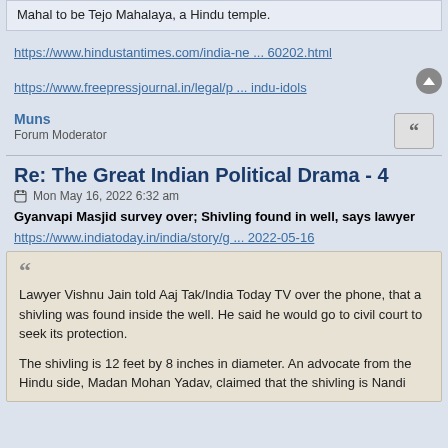Mahal to be Tejo Mahalaya, a Hindu temple.
https://www.hindustantimes.com/india-ne ... 60202.html
https://www.freepressjournal.in/legal/p ... indu-idols
Muns
Forum Moderator
Re: The Great Indian Political Drama - 4
Mon May 16, 2022 6:32 am
Gyanvapi Masjid survey over; Shivling found in well, says lawyer
https://www.indiatoday.in/india/story/g ... 2022-05-16
Lawyer Vishnu Jain told Aaj Tak/India Today TV over the phone, that a shivling was found inside the well. He said he would go to civil court to seek its protection.

The shivling is 12 feet by 8 inches in diameter. An advocate from the Hindu side, Madan Mohan Yadav, claimed that the shivling is Nandi